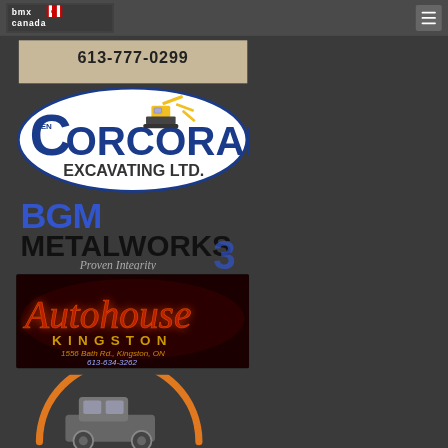[Figure (logo): BMX Canada logo in white text with Canadian maple leaf flag on dark background, top navigation bar with hamburger menu icon]
613-777-0299
[Figure (logo): Len Corcoran Excavating Ltd logo with excavator graphic, blue and white oval shape with yellow excavator illustration]
[Figure (logo): BGM Metalworks logo - blue stylized BGM text above black METALWORKS text, with tagline Proven Integrity and blue numeral 3]
[Figure (logo): Autohouse Kingston logo - red neon script Autohouse text on dark background, KINGSTON in gold letters, address 1556 Bath Rd., Kingston, ON and phone 613-634-3262]
[Figure (logo): Partial circular logo with orange arc and grey vehicle/trailer icon, partially visible at bottom of page]